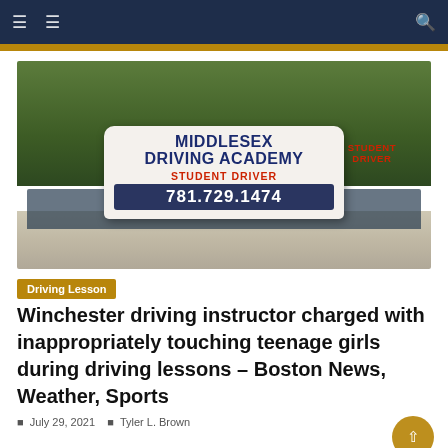Navigation header with menu icons and search
[Figure (photo): A Middlesex Driving Academy student driver sign on top of a car roof. The white sign reads 'MIDDLESEX DRIVING ACADEMY' in dark blue bold text, 'STUDENT DRIVER' in red, and '781.729.1474' on a dark blue bar. The side also reads 'STUDENT DRIVER' in red. Background shows green trees.]
Driving Lesson
Winchester driving instructor charged with inappropriately touching teenage girls during driving lessons – Boston News, Weather, Sports
July 29, 2021  Tyler L. Brown